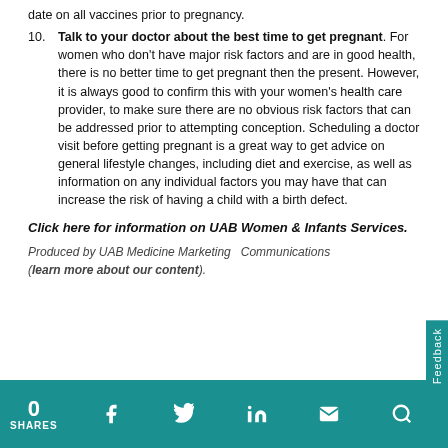date on all vaccines prior to pregnancy.
10. Talk to your doctor about the best time to get pregnant. For women who don't have major risk factors and are in good health, there is no better time to get pregnant then the present. However, it is always good to confirm this with your women's health care provider, to make sure there are no obvious risk factors that can be addressed prior to attempting conception. Scheduling a doctor visit before getting pregnant is a great way to get advice on general lifestyle changes, including diet and exercise, as well as information on any individual factors you may have that can increase the risk of having a child with a birth defect.
Click here for information on UAB Women & Infants Services.
Produced by UAB Medicine Marketing   Communications (learn more about our content).
0 SHARES | Facebook | Twitter | LinkedIn | Email | Search | Feedback